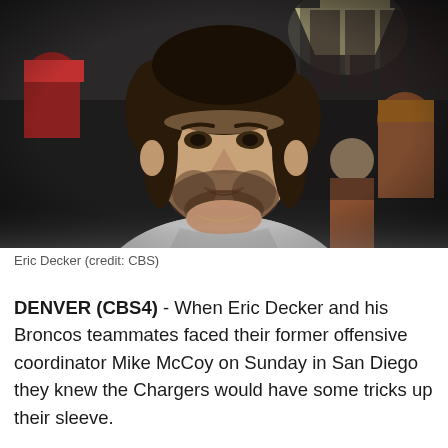[Figure (photo): Eric Decker, a man with dark hair and beard wearing a grey speckled t-shirt, photographed indoors with blurred background showing other people and a lamp]
Eric Decker (credit: CBS)
DENVER (CBS4) - When Eric Decker and his Broncos teammates faced their former offensive coordinator Mike McCoy on Sunday in San Diego they knew the Chargers would have some tricks up their sleeve.
Decker told CBS4's Vic Lombardi on Xfinity Monday Live that with McCoy leading the Chargers as head coach on the opposite sideline, the football game felt